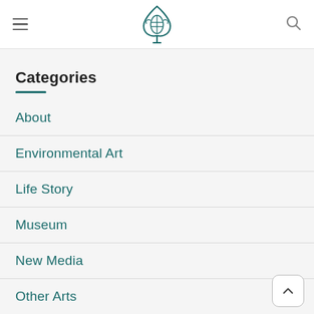Navigation header with hamburger menu, logo, and search icon
Categories
About
Environmental Art
Life Story
Museum
New Media
Other Arts
painting
Paradise Art Center